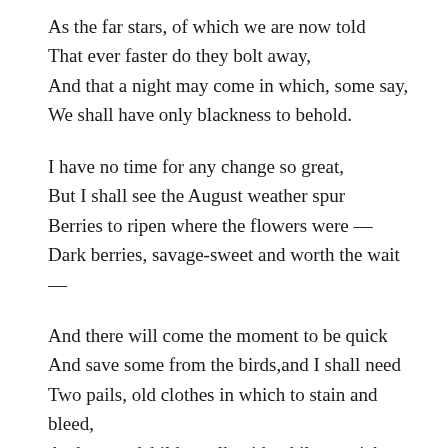As the far stars, of which we are now told
That ever faster do they bolt away,
And that a night may come in which, some say,
We shall have only blackness to behold.

I have no time for any change so great,
But I shall see the August weather spur
Berries to ripen where the flowers were —
Dark berries, savage-sweet and worth the wait
—

And there will come the moment to be quick
And save some from the birds,and I shall need
Two pails, old clothes in which to stain and bleed,
And a grandchild to talk with while we pick.